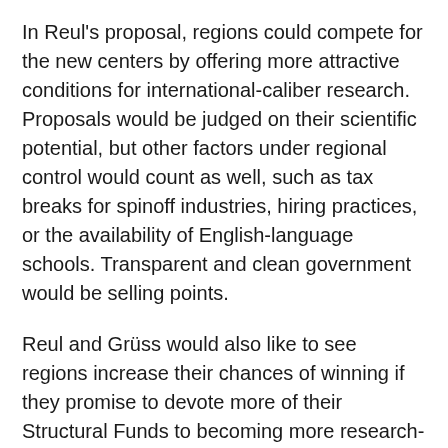In Reul's proposal, regions could compete for the new centers by offering more attractive conditions for international-caliber research. Proposals would be judged on their scientific potential, but other factors under regional control would count as well, such as tax breaks for spinoff industries, hiring practices, or the availability of English-language schools. Transparent and clean government would be selling points.
Reul and Grüss would also like to see regions increase their chances of winning if they promise to devote more of their Structural Funds to becoming more research-friendly. They're not the only ones: At a parliamentary hearing last week in Brussels, several other speakers proposed ideas for better synergy between Horizon 2020 and the much larger Structural Funds.
Reul hopes European regions will embrace his idea. "Even regions that do not win ... will most probably continue their